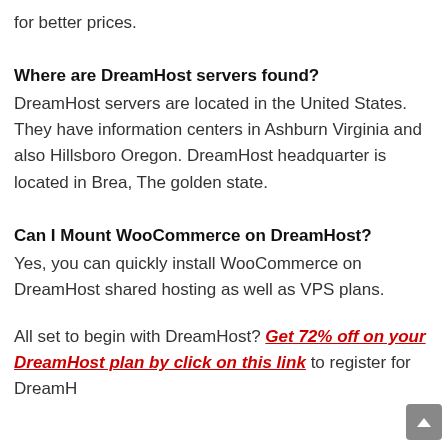for better prices.
Where are DreamHost servers found?
DreamHost servers are located in the United States. They have information centers in Ashburn Virginia and also Hillsboro Oregon. DreamHost headquarter is located in Brea, The golden state.
Can I Mount WooCommerce on DreamHost?
Yes, you can quickly install WooCommerce on DreamHost shared hosting as well as VPS plans.
All set to begin with DreamHost? Get 72% off on your DreamHost plan by click on this link to register for DreamHost